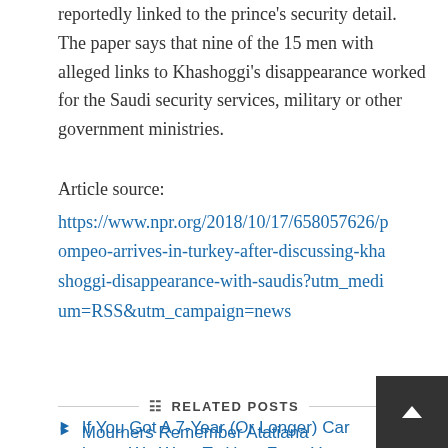reportedly linked to the prince's security detail. The paper says that nine of the 15 men with alleged links to Khashoggi's disappearance worked for the Saudi security services, military or other government ministries.
Article source:
https://www.npr.org/2018/10/17/658057626/pompeo-arrives-in-turkey-after-discussing-khashoggi-disappearance-with-saudis?utm_medium=RSS&utm_campaign=news
RELATED POSTS
Mourners Remember Atatiana Jefferson's 'Shining Smile' After Fort Worth Shooting
If You Got A 7-Year (Or Longer) Car Loan, We Want To Hear From You